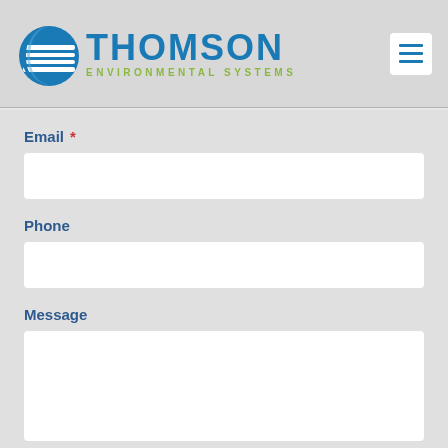[Figure (logo): Thomson Environmental Systems logo: circular blue globe icon on left, bold blue THOMSON text, green ENVIRONMENTAL SYSTEMS subtitle]
Email *
Phone
Message